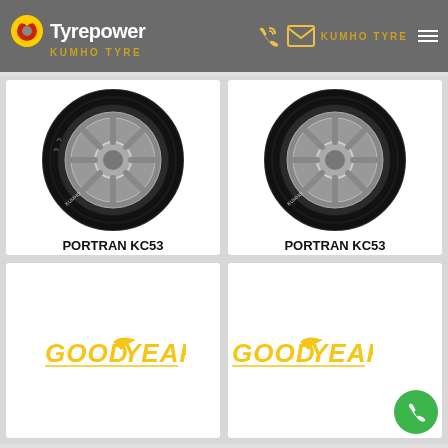Tyrepower KUMHO TYRE | KUMHO TYRE
[Figure (photo): Kumho Portran KC53 tyre image - left product card]
PORTRAN KC53
215/70R15C 109/107T
[Figure (photo): Kumho Portran KC53 tyre image - right product card]
PORTRAN KC53
LT215/70R15 109/107T
[Figure (logo): Goodyear logo - bottom left card]
[Figure (logo): Goodyear logo - bottom right card (partially visible)]